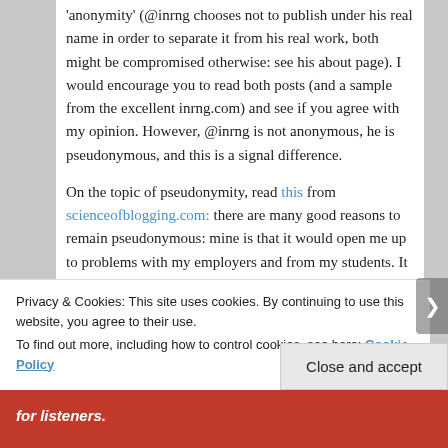'anonymity' (@inrng chooses not to publish under his real name in order to separate it from his real work, both might be compromised otherwise: see his about page). I would encourage you to read both posts (and a sample from the excellent inrng.com) and see if you agree with my opinion. However, @inrng is not anonymous, he is pseudonymous, and this is a signal difference.
On the topic of pseudonymity, read this from scienceofblogging.com: there are many good reasons to remain pseudonymous: mine is that it would open me up to problems with my employers and from my students. It is also worth considering the acousmatic tradition of oratory recommended by Pythagorus, who would lecture from behind a screen so as to encourage a focus on the
Privacy & Cookies: This site uses cookies. By continuing to use this website, you agree to their use.
To find out more, including how to control cookies, see here: Cookie Policy
Close and accept
for listeners.